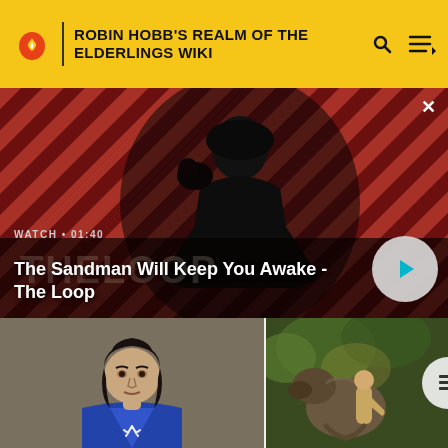ROBIN HOBB'S REALM OF THE ELDERLINGS WIKI
[Figure (screenshot): Hero video thumbnail showing a dark-clothed figure with a raven on shoulder against a diagonal red and dark striped background. Text overlay reads 'WATCH • 01:40' and title 'The Sandman Will Keep You Awake - The Loop' with a play button.]
The Sandman Will Keep You Awake - The Loop
[Figure (illustration): Illustrated portrait of a young man with dark shoulder-length hair wearing a blue outfit with white branch/antler design on chest, against a brown-grey background.]
[Figure (illustration): Illustrated scene of a large creature (possibly a wolf or bear) with a person in a green forest setting.]